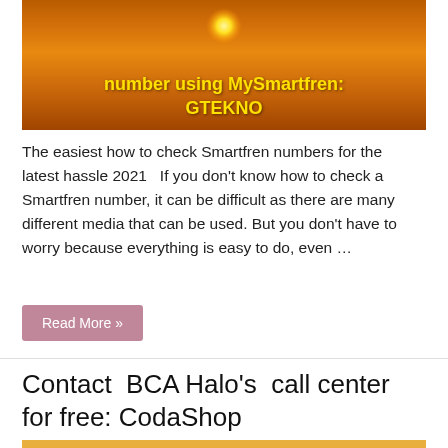[Figure (photo): Sunset over water with bold yellow text overlay reading 'number using MySmartfren: GTEKNO']
The easiest how to check Smartfren numbers for the latest hassle 2021   If you don't know how to check a Smartfren number, it can be difficult as there are many different media that can be used. But you don't have to worry because everything is easy to do, even …
Read More »
Contact  BCA Halo's  call center for free: CodaShop
[Figure (photo): Sunset background image with warm orange and yellow gradient tones]